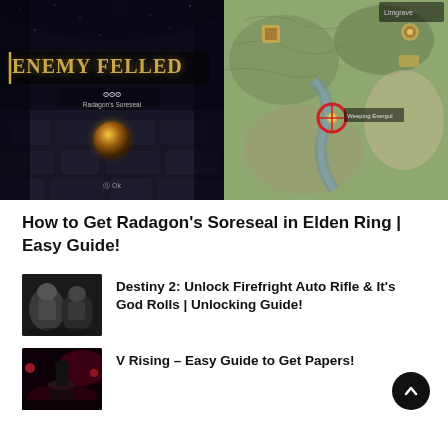[Figure (screenshot): Split screenshot: left side shows Elden Ring 'ENEMY FELLED' screen with Radagon's Soreseal item drop on dark stone floor with stars; right side shows Elden Ring map with red circle marker indicating item location.]
How to Get Radagon's Soreseal in Elden Ring | Easy Guide!
[Figure (photo): Destiny 2 character thumbnail - two armored guardian characters in dark environment]
Destiny 2: Unlock Firefright Auto Rifle & It's God Rolls | Unlocking Guide!
[Figure (screenshot): V Rising dark atmospheric game screenshot with reddish purple tones showing a figure near a forge]
V Rising – Easy Guide to Get Papers!